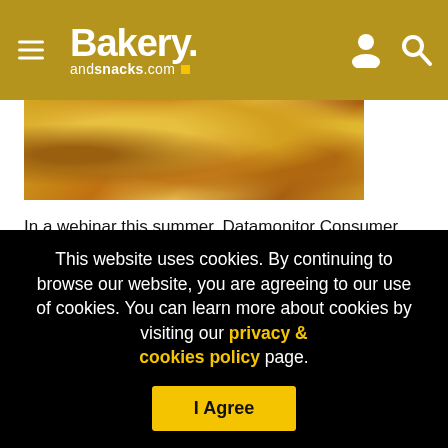Bakery andsnacks.com
[Figure (photo): Close-up photo of golden baked snacks/crackers]
In a webinar this summer, Datamonitor Consumer said there were a number of important, emerging trends that manufacturers should innovate into. These included the rise of ethnic snacks; home snacking; recognizable ingredients; and 'sensory snacks'. Gluten-free would also continue to be an important trend, said the research firm's innovation insights director, Tom Vierhile: "Poor gluten. It really needs a PR agency
This website uses cookies. By continuing to browse our website, you are agreeing to our use of cookies. You can learn more about cookies by visiting our privacy & cookies policy page.